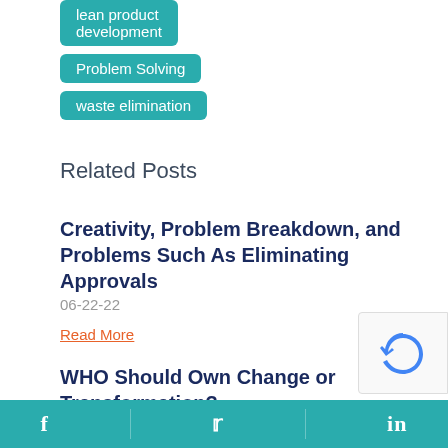lean product development
Problem Solving
waste elimination
Related Posts
Creativity, Problem Breakdown, and Problems Such As Eliminating Approvals
06-22-22
Read More
WHO Should Own Change or Transformation?
06-09-22
f  t  in